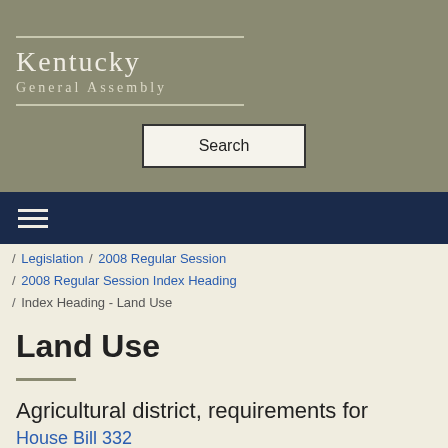Kentucky General Assembly
[Figure (screenshot): Search button box with text 'Search']
/ Legislation / 2008 Regular Session / 2008 Regular Session Index Heading / Index Heading - Land Use
Land Use
Agricultural district, requirements for
House Bill 332